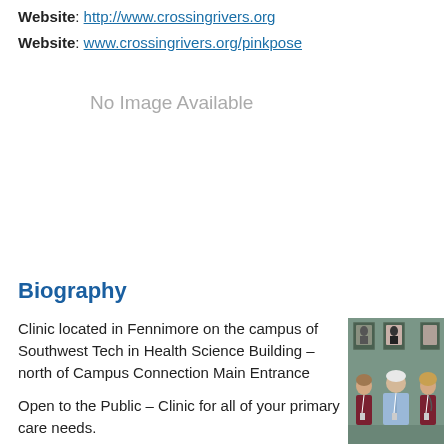Website: http://www.crossingrivers.org
Website: www.crossingrivers.org/pinkpose
No Image Available
Biography
Clinic located in Fennimore on the campus of Southwest Tech in Health Science Building – north of Campus Connection Main Entrance

Open to the Public – Clinic for all of your primary care needs.
[Figure (photo): Group photo of clinic staff: three people sitting/standing in front of a sage green wall with framed portrait photos. The center figure is an older man in a light blue shirt, flanked by two women in dark maroon scrubs with lanyards.]